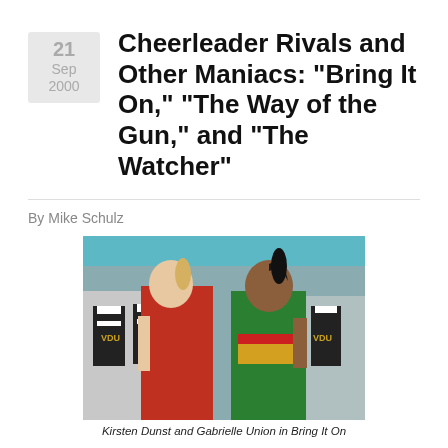Cheerleader Rivals and Other Maniacs: "Bring It On," "The Way of the Gun," and "The Watcher"
By Mike Schulz
[Figure (photo): Kirsten Dunst and Gabrielle Union facing each other with cheerleaders in black and white uniforms in the background from the movie Bring It On]
Kirsten Dunst and Gabrielle Union in Bring It On
BRING IT ON